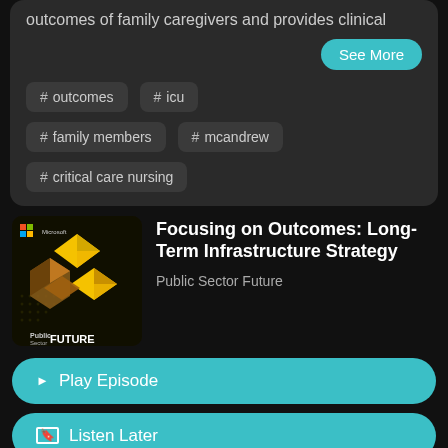outcomes of family caregivers and provides clinical
See More
# outcomes
# icu
# family members
# mcandrew
# critical care nursing
[Figure (illustration): Microsoft Public Sector FUTURE podcast logo with geometric gold/yellow hexagonal shapes on dark background]
Focusing on Outcomes: Long-Term Infrastructure Strategy
Public Sector Future
Play Episode
Listen Later